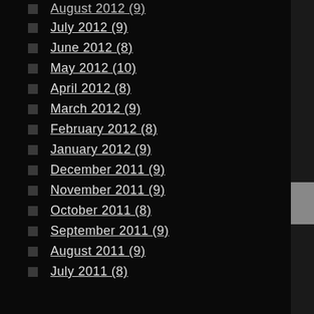August 2012 (9)
July 2012 (9)
June 2012 (8)
May 2012 (10)
April 2012 (8)
March 2012 (9)
February 2012 (8)
January 2012 (9)
December 2011 (9)
November 2011 (9)
October 2011 (8)
September 2011 (9)
August 2011 (9)
July 2011 (8)